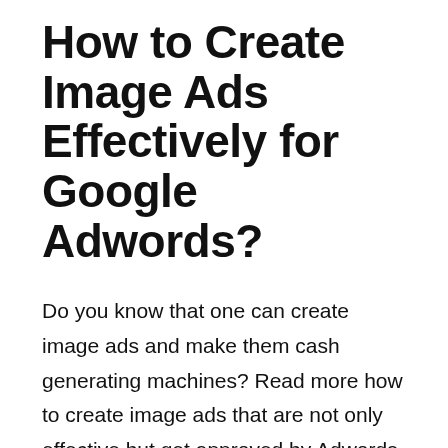How to Create Image Ads Effectively for Google Adwords?
Do you know that one can create image ads and make them cash generating machines? Read more how to create image ads that are not only effective but get approved by Adwords.
Before every one of these campaigns, your image ads will be manually reviewed by a